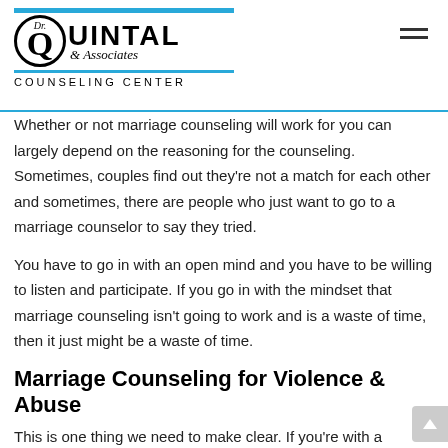[Figure (logo): Dr. Quintal & Associates Counseling Center logo with circular Q emblem and blue accent bars]
Whether or not marriage counseling will work for you can largely depend on the reasoning for the counseling. Sometimes, couples find out they’re not a match for each other and sometimes, there are people who just want to go to a marriage counselor to say they tried.
You have to go in with an open mind and you have to be willing to listen and participate. If you go in with the mindset that marriage counseling isn’t going to work and is a waste of time, then it just might be a waste of time.
Marriage Counseling for Violence & Abuse
This is one thing we need to make clear. If you’re with a